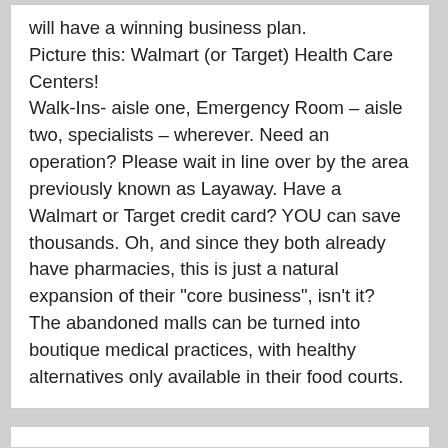will have a winning business plan. Picture this: Walmart (or Target) Health Care Centers! Walk-Ins- aisle one, Emergency Room – aisle two, specialists – wherever. Need an operation? Please wait in line over by the area previously known as Layaway. Have a Walmart or Target credit card? YOU can save thousands. Oh, and since they both already have pharmacies, this is just a natural expansion of their "core business", isn't it? The abandoned malls can be turned into boutique medical practices, with healthy alternatives only available in their food courts.